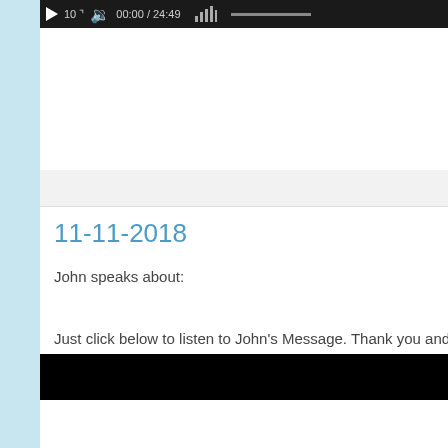[Figure (screenshot): Media player controls bar showing play button, speed indicator '10', volume icon, timestamp '00:00 / 24:49', and waveform/bars icon on dark background]
11-11-2018
John speaks about:
Just click below to listen to John's Message. Thank you and ha
[Figure (screenshot): Black media player bar at bottom]